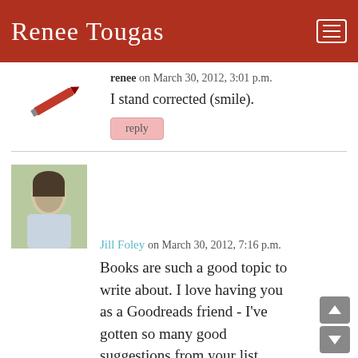Renee Tougas
renee on March 30, 2012, 3:01 p.m.
I stand corrected (smile).
reply
Jill Foley on March 30, 2012, 7:16 p.m.
Books are such a good topic to write about. I love having you as a Goodreads friend - I've gotten so many good suggestions from your list.
I would love to read a post about your homeschool library. Because we have such a great library system, I've stopped buying books like I used to.